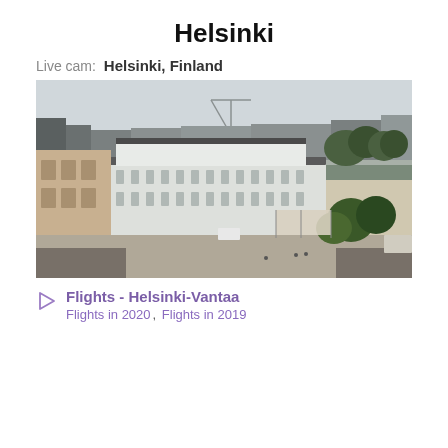Helsinki
Live cam:  Helsinki, Finland
[Figure (photo): Aerial/elevated wide-angle view of Helsinki city center showing a large white neoclassical building in the foreground, surrounding urban buildings, trees, and a cloudy sky in the background.]
Flights - Helsinki-Vantaa
Flights in 2020, Flights in 2019